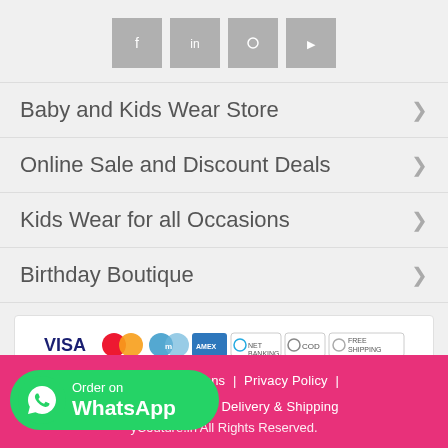[Figure (illustration): Four grey square social media icon boxes in a row]
Baby and Kids Wear Store
Online Sale and Discount Deals
Kids Wear for all Occasions
Birthday Boutique
[Figure (illustration): Payment method icons: VISA, MasterCard, Maestro, American Express, Net Banking, COD, Free Shipping]
Terms & Conditions  |  Privacy Policy  |  & Cancellations  |  Delivery & Shipping  yCouture.in All Rights Reserved.
[Figure (illustration): Order on WhatsApp green button with WhatsApp logo]